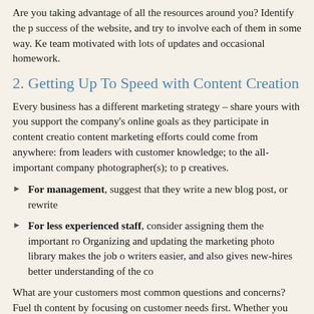Are you taking advantage of all the resources around you? Identify the people who can help with the success of the website, and try to involve each of them in some way. Keep the team motivated with lots of updates and occasional homework.
2. Getting Up To Speed with Content Creation
Every business has a different marketing strategy – share yours with your team so they can support the company's online goals as they participate in content creation. Your content marketing efforts could come from anywhere: from leaders with deep industry and customer knowledge; to the all-important company photographer(s); to passionate creatives.
For management, suggest that they write a new blog post, or rewrite…
For less experienced staff, consider assigning them the important ro… Organizing and updating the marketing photo library makes the job o… writers easier, and also gives new-hires better understanding of the co…
What are your customers most common questions and concerns? Fuel th… content by focusing on customer needs first. Whether you plan to update… even twice a year, plan ahead so that you have time to brainstorm for cat… engaging visuals, and to get committee approval if needed.
3. Getting Under the Hood with Training